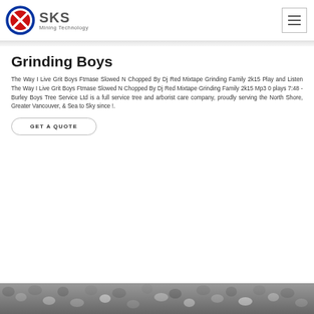SKS Mining Technology
Grinding Boys
The Way I Live Grit Boys Ftmase Slowed N Chopped By Dj Red Mixtape Grinding Family 2k15 Play and Listen The Way I Live Grit Boys Ftmase Slowed N Chopped By Dj Red Mixtape Grinding Family 2k15 Mp3 0 plays 7:48 -Burley Boys Tree Service Ltd is a full service tree and arborist care company, proudly serving the North Shore, Greater Vancouver, & Sea to Sky since !.
GET A QUOTE
[Figure (photo): Close-up photo of crushed stone or gravel aggregate material, gray colored rocks]